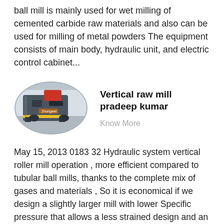ball mill is mainly used for wet milling of cemented carbide raw materials and also can be used for milling of metal powders The equipment consists of main body, hydraulic unit, and electric control cabinet...
[Figure (photo): Oval-framed photo of an industrial vertical roller mill or cemented carbide ball mill machine in a factory setting, showing a large grey machine with red components and yellow safety striping on the floor.]
Vertical raw mill pradeep kumar
Know More
May 15, 2013 0183 32 Hydraulic system vertical roller mill operation , more efficient compared to tubular ball mills, thanks to the complete mix of gases and materials , So it is economical if we design a slightly larger mill with lower Specific pressure that allows a less strained design and an longer life Of the machinery instead of sizing a mill with high ....